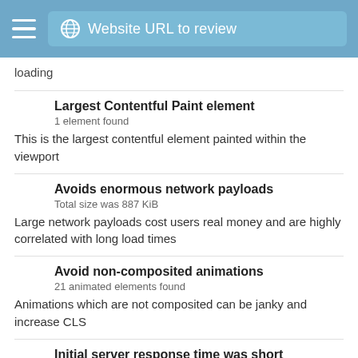Website URL to review
loading
Largest Contentful Paint element
1 element found
This is the largest contentful element painted within the viewport
Avoids enormous network payloads
Total size was 887 KiB
Large network payloads cost users real money and are highly correlated with long load times
Avoid non-composited animations
21 animated elements found
Animations which are not composited can be janky and increase CLS
Initial server response time was short
Root document took 590 ms